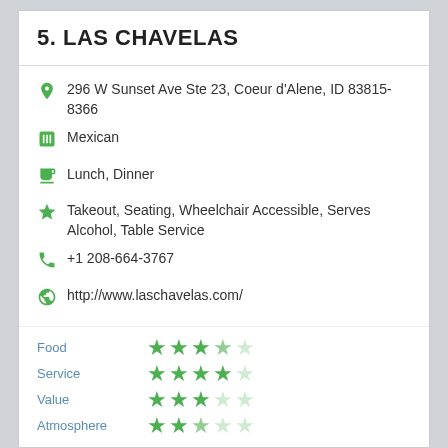5. LAS CHAVELAS
296 W Sunset Ave Ste 23, Coeur d'Alene, ID 83815-8366
Mexican
Lunch, Dinner
Takeout, Seating, Wheelchair Accessible, Serves Alcohol, Table Service
+1 208-664-3767
http://www.laschavelas.com/
| Category | Rating |
| --- | --- |
| Food | 3.5/5 |
| Service | 4/5 |
| Value | 3/5 |
| Atmosphere | 2.5/5 |
Overall Ratings